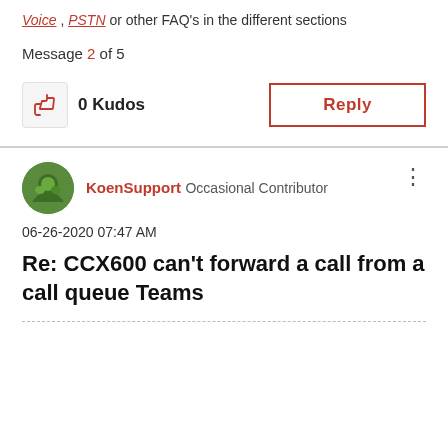Voice, PSTN or other FAQ's in the different sections
Message 2 of 5
0 Kudos
Reply
KoenSupport Occasional Contributor
06-26-2020 07:47 AM
Re: CCX600 can't forward a call from a call queue Teams